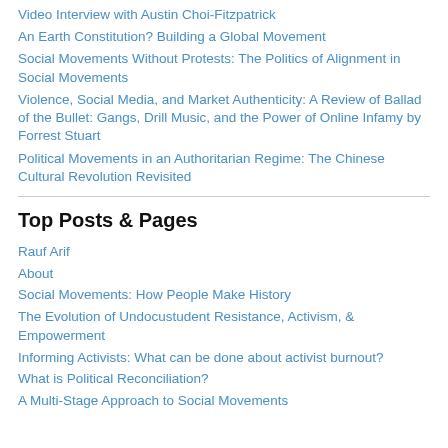Video Interview with Austin Choi-Fitzpatrick
An Earth Constitution? Building a Global Movement
Social Movements Without Protests: The Politics of Alignment in Social Movements
Violence, Social Media, and Market Authenticity: A Review of Ballad of the Bullet: Gangs, Drill Music, and the Power of Online Infamy by Forrest Stuart
Political Movements in an Authoritarian Regime: The Chinese Cultural Revolution Revisited
Top Posts & Pages
Rauf Arif
About
Social Movements: How People Make History
The Evolution of Undocustudent Resistance, Activism, & Empowerment
Informing Activists: What can be done about activist burnout?
What is Political Reconciliation?
A Multi-Stage Approach to Social Movements